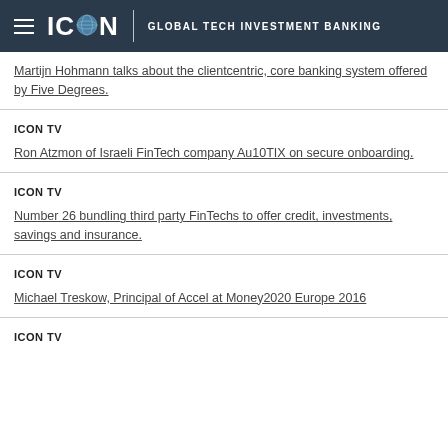ICON GLOBAL TECH INVESTMENT BANKING
Martijn Hohmann talks about the clientcentric, core banking system offered by Five Degrees.
ICON TV
Ron Atzmon of Israeli FinTech company Au10TIX on secure onboarding.
ICON TV
Number 26 bundling third party FinTechs to offer credit, investments, savings and insurance.
ICON TV
Michael Treskow, Principal of Accel at Money2020 Europe 2016
ICON TV